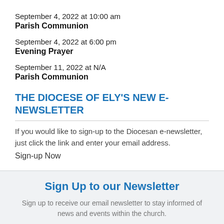September 4, 2022 at 10:00 am
Parish Communion
September 4, 2022 at 6:00 pm
Evening Prayer
September 11, 2022 at N/A
Parish Communion
THE DIOCESE OF ELY'S NEW E-NEWSLETTER
If you would like to sign-up to the Diocesan e-newsletter, just click the link and enter your email address.
Sign-up Now
Sign Up to our Newsletter
Sign up to receive our email newsletter to stay informed of news and events within the church.